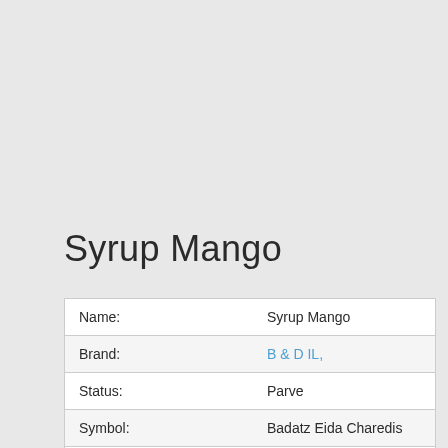Syrup Mango
| Name: | Syrup Mango |
| Brand: | B & D IL, |
| Status: | Parve |
| Symbol: | Badatz Eida Charedis |
| Resource of | Kosher4u.eu () |